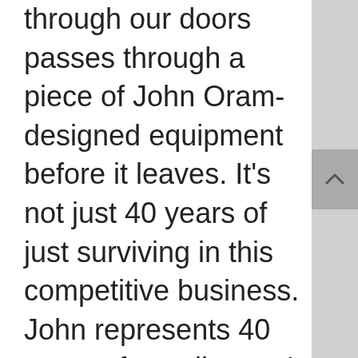through our doors passes through a piece of John Oram-designed equipment before it leaves. It's not just 40 years of just surviving in this competitive business. John represents 40 years of excellence. I am proud to be the only all Oram facility on the US Atlantic coast, and even more proud that John and his staff are our friends.